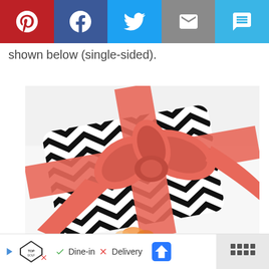[Figure (infographic): Social share bar with Pinterest (red), Facebook (dark blue), Twitter (light blue), Email (grey), SMS (blue) buttons with white icons]
shown below (single-sided).
[Figure (photo): A gift card or invitation with black and white chevron/geometric pattern wrapped with a large coral/salmon pink satin ribbon bow, on a white background with a subtle floral element at bottom]
[Figure (infographic): Bottom navigation bar showing TopGolf logo, Dine-in with checkmark, Delivery with X, navigation/directions icon, and a grid/menu icon]